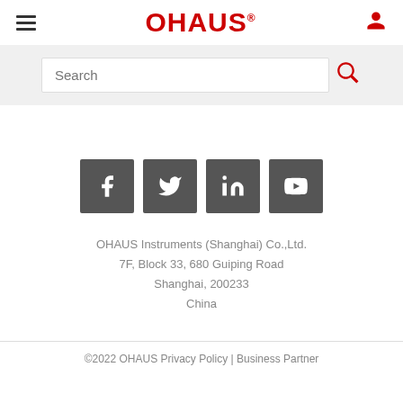OHAUS®
Search
[Figure (logo): Social media icons: Facebook, Twitter, LinkedIn, YouTube]
OHAUS Instruments (Shanghai) Co.,Ltd.
7F, Block 33, 680 Guiping Road
Shanghai, 200233
China
©2022 OHAUS Privacy Policy | Business Partner